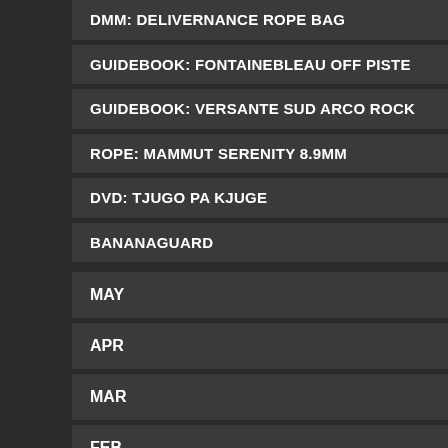DMM: DELIVERNANCE ROPE BAG
GUIDEBOOK: FONTAINEBLEAU OFF PISTE
GUIDEBOOK: VERSANTE SUD ARCO ROCK
ROPE: MAMMUT SERENITY 8.9MM
DVD: TJUGO PA KJUGE
BANANAGUARD
MAY (7)
APR (3)
MAR (31)
FEB (3)
A Peter Mortimer Film Watch by an author new to you can such hard work that you are
read more